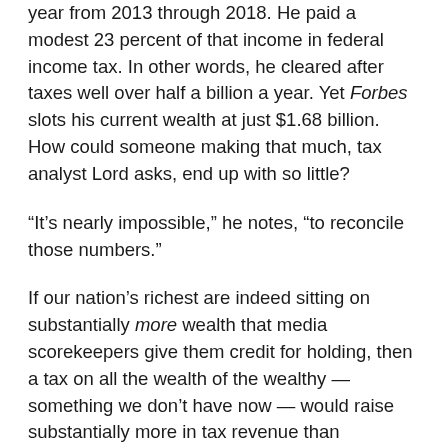year from 2013 through 2018. He paid a modest 23 percent of that income in federal income tax. In other words, he cleared after taxes well over half a billion a year. Yet Forbes slots his current wealth at just $1.68 billion. How could someone making that much, tax analyst Lord asks, end up with so little?
“It’s nearly impossible,” he notes, “to reconcile those numbers.”
If our nation’s richest are indeed sitting on substantially more wealth that media scorekeepers give them credit for holding, then a tax on all the wealth of the wealthy — something we don’t have now — would raise substantially more in tax revenue than expected.
And such a tax seems to be inching closer to our political center stage. The White House has proposed a “Billionaires’ Minimum Income Tax,” a plan that would subject the “unrealized” capital gains of the rich — the annual increases in the value of their